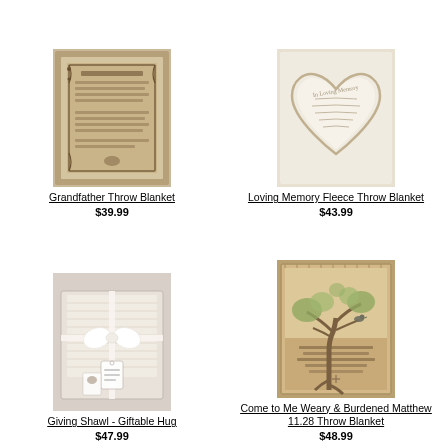[Figure (photo): Grandfather Throw Blanket product photo showing a tan/beige woven blanket with decorative border and text panel]
Grandfather Throw Blanket
$39.99
[Figure (photo): Loving Memory Fleece Throw Blanket product photo showing a cream/white blanket with heart shape and script text]
Loving Memory Fleece Throw Blanket
$43.99
[Figure (photo): Giving Shawl - Giftable Hug product photo showing a cream knit shawl with ribbon bow in a gift box]
Giving Shawl - Giftable Hug
$47.99
[Figure (photo): Come to Me Weary & Burdened Matthew 11.28 Throw Blanket product photo showing a tan/earth tone blanket with tree and bird illustration]
Come to Me Weary & Burdened Matthew 11.28 Throw Blanket
$48.99